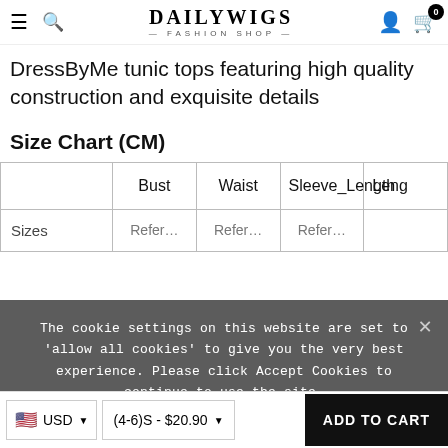DAILYWIGS — FASHION SHOP
DressByMe tunic tops featuring high quality construction and exquisite details
Size Chart (CM)
|  | Bust | Waist | Sleeve_Length | Leng… |
| --- | --- | --- | --- | --- |
| Sizes | Refer… | Refer… | Refer… |  |
The cookie settings on this website are set to 'allow all cookies' to give you the very best experience. Please click Accept Cookies to continue to use the site.
USD  (4-6)S - $20.90  ADD TO CART